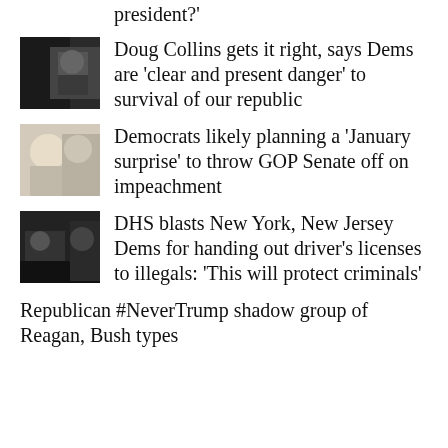president?'
Doug Collins gets it right, says Dems are 'clear and present danger' to survival of our republic
Democrats likely planning a 'January surprise' to throw GOP Senate off on impeachment
DHS blasts New York, New Jersey Dems for handing out driver's licenses to illegals: 'This will protect criminals'
Republican #NeverTrump shadow group of Reagan, Bush types